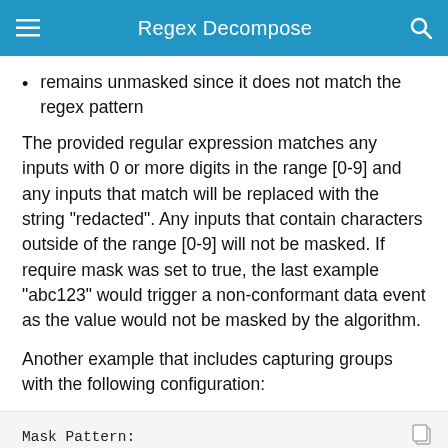Regex Decompose
remains unmasked since it does not match the regex pattern
The provided regular expression matches any inputs with 0 or more digits in the range [0-9] and any inputs that match will be replaced with the string "redacted". Any inputs that contain characters outside of the range [0-9] will not be masked. If require mask was set to true, the last example "abc123" would trigger a non-conformant data event as the value would not be masked by the algorithm.
Another example that includes capturing groups with the following configuration:
Mask Pattern:
    Regular Expression: "([1-9]*)-([a-z]*)"
    Action 1: Redact